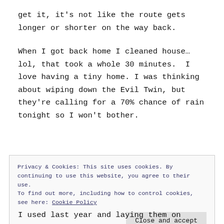get it, it's not like the route gets longer or shorter on the way back.
When I got back home I cleaned house… lol, that took a whole 30 minutes.  I love having a tiny home. I was thinking about wiping down the Evil Twin, but they're calling for a 70% chance of rain tonight so I won't bother.
Privacy & Cookies: This site uses cookies. By continuing to use this website, you agree to their use. To find out more, including how to control cookies, see here: Cookie Policy
Close and accept
I used last year and laying them on